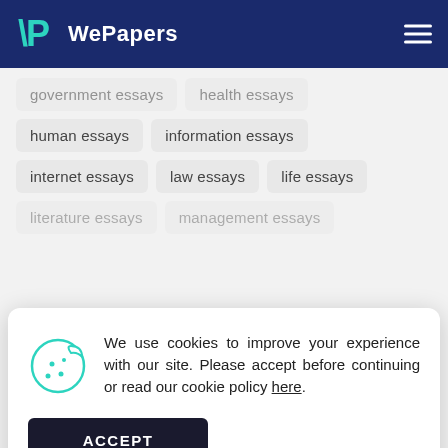WePapers
government essays
health essays
human essays
information essays
internet essays
law essays
life essays
literature essays
management essays
We use cookies to improve your experience with our site. Please accept before continuing or read our cookie policy here.
sociology essays
students essays
study essays
system essays
time essays
united states essays
women essays